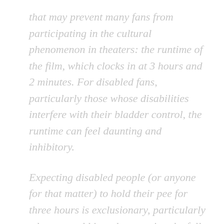that may prevent many fans from participating in the cultural phenomenon in theaters: the runtime of the film, which clocks in at 3 hours and 2 minutes. For disabled fans, particularly those whose disabilities interfere with their bladder control, the runtime can feel daunting and inhibitory.
Expecting disabled people (or anyone for that matter) to hold their pee for three hours is exclusionary, particularly when you add into the equation the full dynamics of the moviegoing experience,